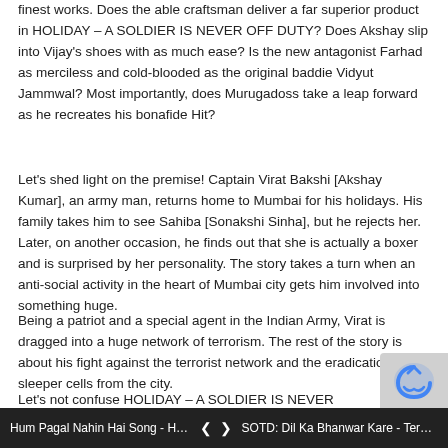finest works. Does the able craftsman deliver a far superior product in HOLIDAY – A SOLDIER IS NEVER OFF DUTY? Does Akshay slip into Vijay's shoes with as much ease? Is the new antagonist Farhad as merciless and cold-blooded as the original baddie Vidyut Jammwal? Most importantly, does Murugadoss take a leap forward as he recreates his bonafide Hit?
Let's shed light on the premise! Captain Virat Bakshi [Akshay Kumar], an army man, returns home to Mumbai for his holidays. His family takes him to see Sahiba [Sonakshi Sinha], but he rejects her. Later, on another occasion, he finds out that she is actually a boxer and is surprised by her personality. The story takes a turn when an anti-social activity in the heart of Mumbai city gets him involved into something huge.
Being a patriot and a special agent in the Indian Army, Virat is dragged into a huge network of terrorism. The rest of the story is about his fight against the terrorist network and the eradication of the sleeper cells from the city.
Let's not confuse HOLIDAY – A SOLDIER IS NEVER OFF DUTY w… atypical Akshay Kumar film that tilts heavily towards humor …gags. This one t… terrorism… and how a lone soldier sets out to annihilate the sle…
Hum Pagal Nahin Hai Song - Hu… ❮ ❯ SOTD: Dil Ka Bhanwar Kare - Ter…